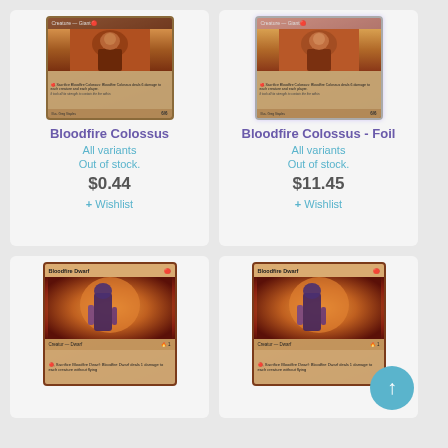[Figure (illustration): Bloodfire Colossus Magic: The Gathering card, Creature - Giant, 6/6, red color]
Bloodfire Colossus
All variants
Out of stock.
$0.44
+ Wishlist
[Figure (illustration): Bloodfire Colossus Foil Magic: The Gathering card, Creature - Giant, 6/6, red color, foil version]
Bloodfire Colossus - Foil
All variants
Out of stock.
$11.45
+ Wishlist
[Figure (illustration): Bloodfire Dwarf Magic: The Gathering card, Creature - Dwarf, red color, art showing a dwarf figure with fire aura]
[Figure (illustration): Bloodfire Dwarf Magic: The Gathering card (second copy), Creature - Dwarf, red color, art showing a dwarf figure with fire aura]